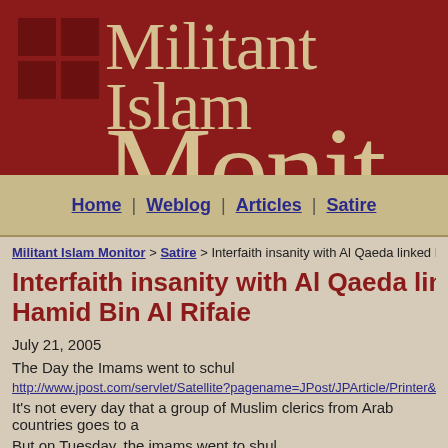[Figure (logo): Militant Islam Monitor website header banner with dark red background, two stacked squares on left, and large serif text reading Militant Islam Monitor]
Home | Weblog | Articles | Satire
Militant Islam Monitor > Satire > Interfaith insanity with Al Qaeda linked Mu...
Interfaith insanity with Al Qaeda linked Hamid Bin Al Rifaie
July 21, 2005
The Day the Imams went to schul
http://www.jpost.com/servlet/Satellite?pagename=JPost/JPArticle/Printer&cid...
It's not every day that a group of Muslim clerics from Arab countries goes to a...
But on Tuesday, the imams went to shul.